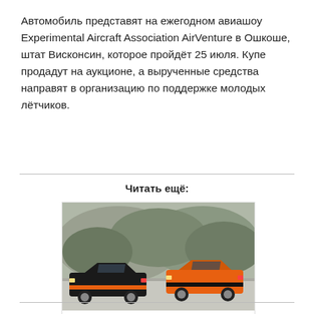Автомобиль представят на ежегодном авиашоу Experimental Aircraft Association AirVenture в Ошкоше, штат Висконсин, которое пройдёт 25 июля. Купе продадут на аукционе, а вырученные средства направят в организацию по поддержке молодых лётчиков.
Читать ещё:
[Figure (photo): Two Shelby Mustang GT-S cars parked on a road with a rocky hillside background — one black with orange stripes, one orange with black stripes.]
Shelby сделала особые GT-S Mustang для прокатной фирмы Sixt